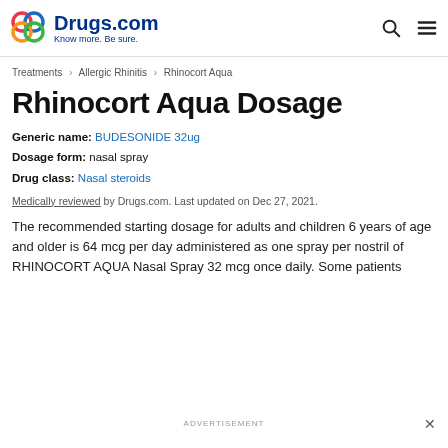Drugs.com Know more. Be sure.
Treatments > Allergic Rhinitis > Rhinocort Aqua
Rhinocort Aqua Dosage
Generic name: BUDESONIDE 32ug
Dosage form: nasal spray
Drug class: Nasal steroids
Medically reviewed by Drugs.com. Last updated on Dec 27, 2021.
The recommended starting dosage for adults and children 6 years of age and older is 64 mcg per day administered as one spray per nostril of RHINOCORT AQUA Nasal Spray 32 mcg once daily. Some patients
ADVERTISEMENT